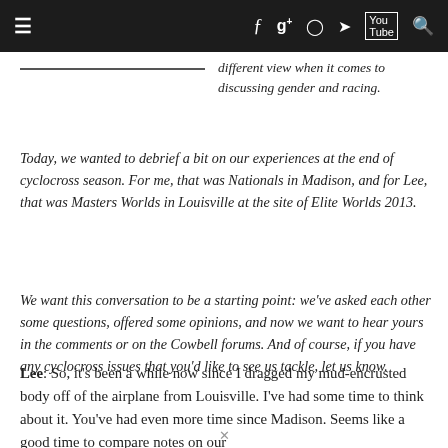≡  f  g+  ◉  🐦  YouTube  🔍
different view when it comes to discussing gender and racing.
Today, we wanted to debrief a bit on our experiences at the end of cyclocross season. For me, that was Nationals in Madison, and for Lee, that was Masters Worlds in Louisville at the site of Elite Worlds 2013.
We want this conversation to be a starting point: we've asked each other some questions, offered some opinions, and now we want to hear yours in the comments or on the Cowbell forums. And of course, if you have any cyclocross issues that you'd like to see us tackle, let us know.
Lee: So, it's been a while now since I dragged my mud-encrusted body off of the airplane from Louisville. I've had some time to think about it. You've had even more time since Madison. Seems like a good time to compare notes on our
✕